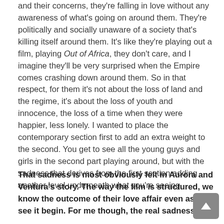and their concerns, they're falling in love without any awareness of what's going on around them. They're politically and socially unaware of a society that's killing itself around them. It's like they're playing out a film, playing Out of Africa, they don't care, and I imagine they'll be very surprised when the Empire comes crashing down around them. So in that respect, for them it's not about the loss of land and the regime, it's about the loss of youth and innocence, the loss of a time when they were happier, less lonely. I wanted to place the contemporary section first to add an extra weight to the second. You get to see all the young guys and girls in the second part playing around, but with the sadness that derives from the first section adding another level underneath what you're seeing.
That sadness is most obviously felt in Aurora and Ventura's story. The way the film is structured, we know the outcome of their love affair even as we see it begin. For me though, the real sadness